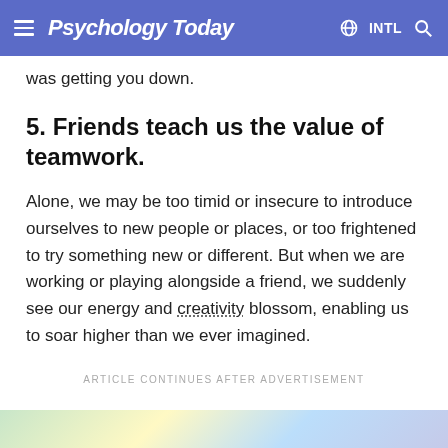Psychology Today  ⊕ INTL 🔍
was getting you down.
5. Friends teach us the value of teamwork.
Alone, we may be too timid or insecure to introduce ourselves to new people or places, or too frightened to try something new or different. But when we are working or playing alongside a friend, we suddenly see our energy and creativity blossom, enabling us to soar higher than we ever imagined.
ARTICLE CONTINUES AFTER ADVERTISEMENT
[Figure (photo): Partial advertisement image visible at bottom of page]